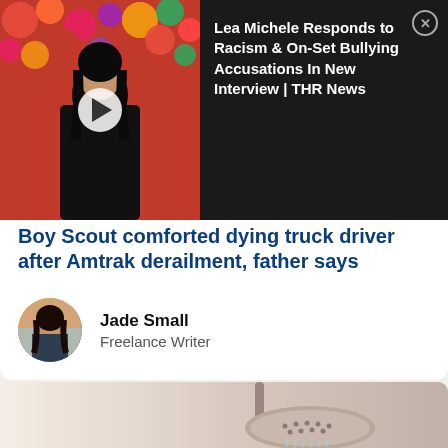[Figure (screenshot): Video thumbnail showing a woman in front of colorful flowers, with a play button overlay. Dark background with video title text.]
Lea Michele Responds to Racism & On-Set Bullying Accusations In New Interview | THR News
Boy Scout comforted dying truck driver after Amtrak derailment, father says
Jade Small
Freelance Writer
[Figure (photo): Close-up photo of a modern round rain shower head with water streaming down, mounted on a wall arm. Beige and neutral tones.]